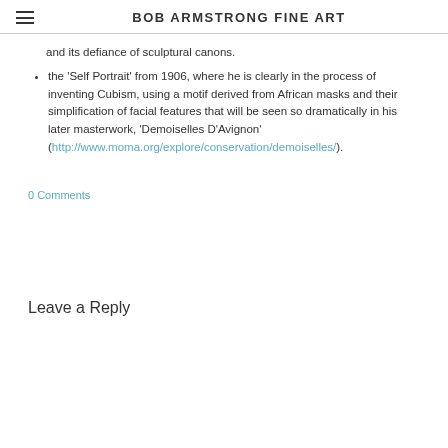BOB ARMSTRONG FINE ART
and its defiance of sculptural canons.
the 'Self Portrait' from 1906, where he is clearly in the process of inventing Cubism, using a motif derived from African masks and their simplification of facial features that will be seen so dramatically in his later masterwork, 'Demoiselles D'Avignon' (http://www.moma.org/explore/conservation/demoiselles/).
0 Comments
Leave a Reply